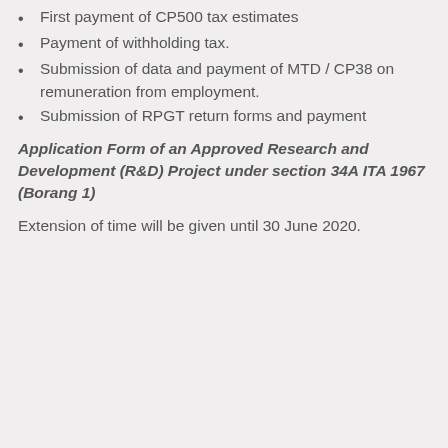First payment of CP500 tax estimates
Payment of withholding tax.
Submission of data and payment of MTD / CP38 on remuneration from employment.
Submission of RPGT return forms and payment
Application Form of an Approved Research and Development (R&D) Project under section 34A ITA 1967 (Borang 1)
Extension of time will be given until 30 June 2020.